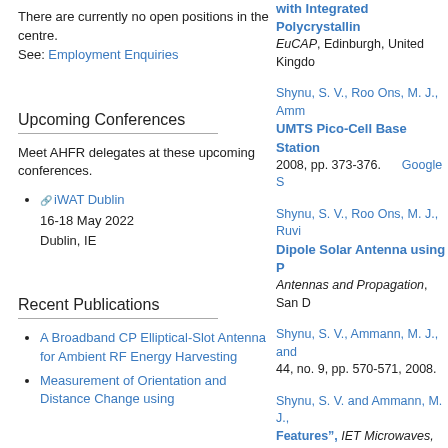There are currently no open positions in the centre.
See: Employment Enquiries
Upcoming Conferences
Meet AHFR delegates at these upcoming conferences.
iWAT Dublin
16-18 May 2022
Dublin, IE
Recent Publications
A Broadband CP Elliptical-Slot Antenna for Ambient RF Energy Harvesting
Measurement of Orientation and Distance Change using
with Integrated Polycrystallin...
EuCAP, Edinburgh, United Kingdom...
Shynu, S. V., Roo Ons, M. J., Amm...
UMTS Pico-Cell Base Station...
2008, pp. 373-376.   Google S...
Shynu, S. V., Roo Ons, M. J., Ruv...
Dipole Solar Antenna using P...
Antennas and Propagation, San D...
Shynu, S. V., Ammann, M. J., and...
44, no. 9, pp. 570-571, 2008.
Shynu, S. V. and Ammann, M. J., S...
Features", IET Microwaves, Anten...
BibTeX   Tagged
Shynu, S. V., Roo Ons, M. J., Amm...
Antenna Design For 2.4/5.2GH...
EuCAP, Berlin, Germany, 2009, p...
Shynu, S. V., Roo Ons, M. J., McB...
Patch Antenna with Polycrys...